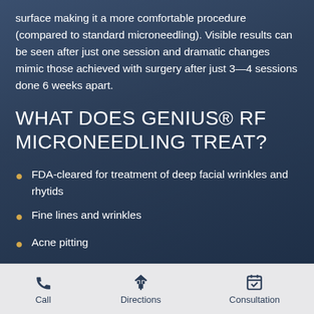surface making it a more comfortable procedure (compared to standard microneedling). Visible results can be seen after just one session and dramatic changes mimic those achieved with surgery after just 3—4 sessions done 6 weeks apart.
WHAT DOES GENIUS® RF MICRONEEDLING TREAT?
FDA-cleared for treatment of deep facial wrinkles and rhytids
Fine lines and wrinkles
Acne pitting
Scars
Call  Directions  Consultation